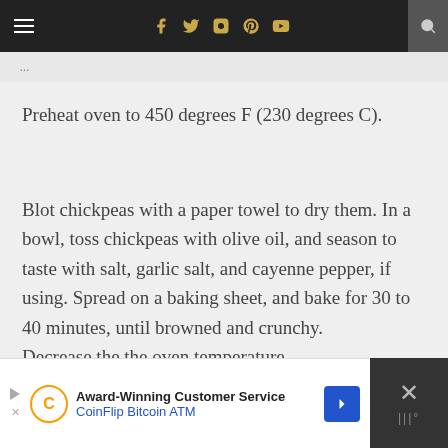[navigation bar with hamburger menu, social icons (f, twitter, instagram, pinterest, youtube), and search]
[partial title text, truncated]
Preheat oven to 450 degrees F (230 degrees C).
Blot chickpeas with a paper towel to dry them. In a bowl, toss chickpeas with olive oil, and season to taste with salt, garlic salt, and cayenne pepper, if using. Spread on a baking sheet, and bake for 30 to 40 minutes, until browned and crunchy.
Decrease the the oven temperature
Award-Winning Customer Service CoinFlip Bitcoin ATM [advertisement]